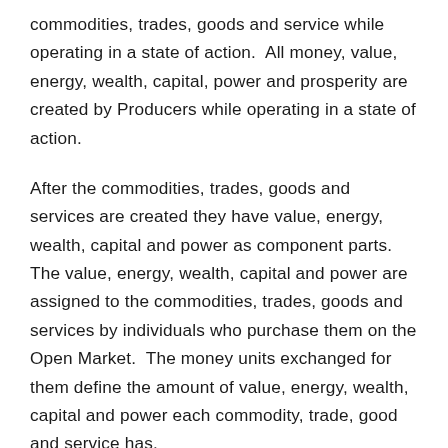commodities, trades, goods and service while operating in a state of action.  All money, value, energy, wealth, capital, power and prosperity are created by Producers while operating in a state of action.
After the commodities, trades, goods and services are created they have value, energy, wealth, capital and power as component parts.  The value, energy, wealth, capital and power are assigned to the commodities, trades, goods and services by individuals who purchase them on the Open Market.  The money units exchanged for them define the amount of value, energy, wealth, capital and power each commodity, trade, good and service has.